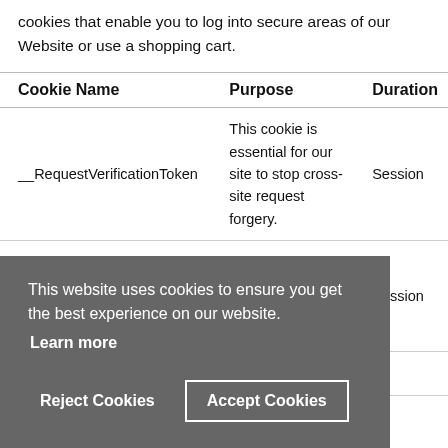cookies that enable you to log into secure areas of our Website or use a shopping cart.
| Cookie Name | Purpose | Duration |
| --- | --- | --- |
| __RequestVerificationToken | This cookie is essential for our site to stop cross-site request forgery. | Session |
| login | This cookie stores your authentication after login. | Session |
|  | This cookie |  |
This website uses cookies to ensure you get the best experience on our website. Learn more Reject Cookies Accept Cookies